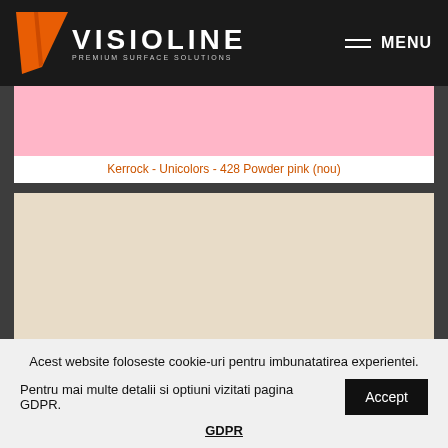VISIOLINE PREMIUM SURFACE SOLUTIONS | MENU
[Figure (photo): Pink color swatch for Kerrock Unicolors 428 Powder pink]
Kerrock - Unicolors - 428 Powder pink (nou)
[Figure (photo): Beige/cream color swatch panel]
Acest website foloseste cookie-uri pentru imbunatatirea experientei.
Pentru mai multe detalii si optiuni vizitati pagina GDPR.
GDPR